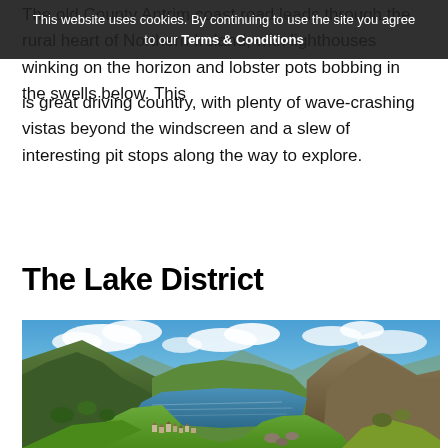This website uses cookies. By continuing to use the site you agree to our Terms & Conditions
The old County Antrim coast road leads through the rural heart of Northern Ireland, with lighthouses winking on the horizon and lobster pots bobbing in the swells below. This is great driving country, with plenty of wave-crashing vistas beyond the windscreen and a slew of interesting pit stops along the way to explore.
The Lake District
[Figure (photo): Panoramic landscape photo of the Lake District showing a lake nestled between green rolling hills and mountains, with a small village in the valley, blue sky with white clouds]